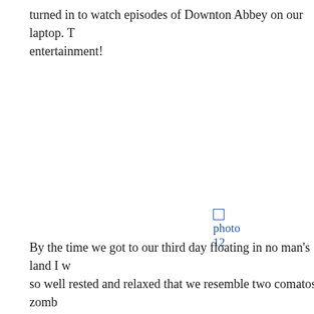turned in to watch episodes of Downton Abbey on our laptop. T entertainment!
[Figure (photo): A broken/missing image placeholder showing alt text 'photo 12' as a hyperlink]
By the time we got to our third day floating in no man's land I w so well rested and relaxed that we resemble two comatose zomb